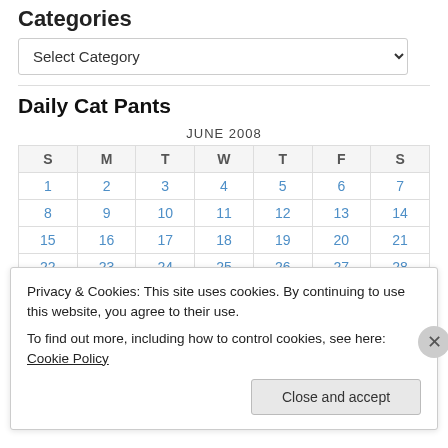Categories
Select Category
Daily Cat Pants
| S | M | T | W | T | F | S |
| --- | --- | --- | --- | --- | --- | --- |
| 1 | 2 | 3 | 4 | 5 | 6 | 7 |
| 8 | 9 | 10 | 11 | 12 | 13 | 14 |
| 15 | 16 | 17 | 18 | 19 | 20 | 21 |
| 22 | 23 | 24 | 25 | 26 | 27 | 28 |
| 29 | 30 |  |  |  |  |  |
Privacy & Cookies: This site uses cookies. By continuing to use this website, you agree to their use.
To find out more, including how to control cookies, see here: Cookie Policy
Close and accept